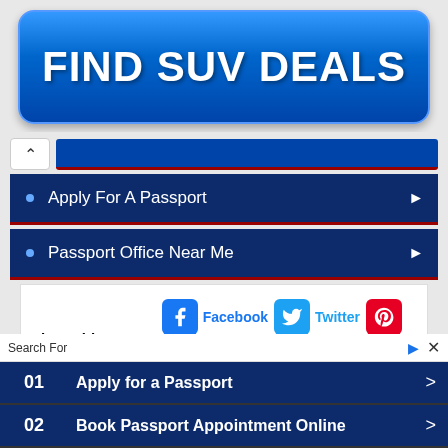[Figure (other): Blue gradient button/banner with text FIND SUV DEALS]
Apply For A Passport
Passport Office Near Me
Share this page: Facebook  Twitter  Reddit  WhatsApp
Search For
01 Apply for a Passport
02 Book Passport Appointment Online